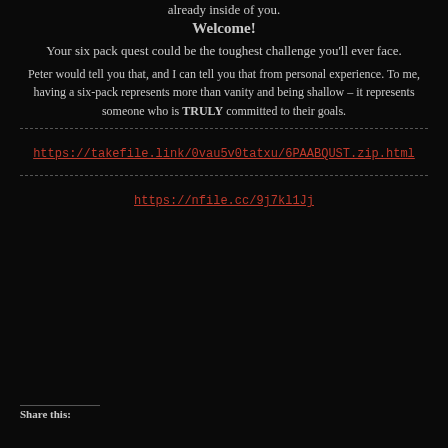already inside of you.
Welcome!
Your six pack quest could be the toughest challenge you'll ever face.
Peter would tell you that, and I can tell you that from personal experience. To me, having a six-pack represents more than vanity and being shallow – it represents someone who is TRULY committed to their goals.
https://takefile.link/0vau5v0tatxu/6PAABQUST.zip.html
https://nfile.cc/9j7kl1Jj
Share this: